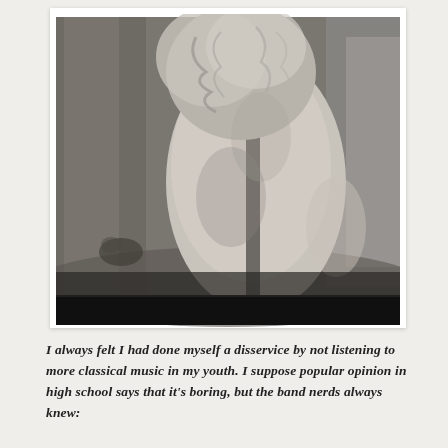[Figure (photo): Black and white photograph of a woman with long curly hair, viewed from the side/back, wearing a textured patterned coat or dress. She is standing in what appears to be an outdoor stone archway or corridor setting. The image has a polaroid-style white border. The bottom of the image transitions to a dark black band.]
I always felt I had done myself a disservice by not listening to more classical music in my youth. I suppose popular opinion in high school says that it's boring, but the band nerds always knew: